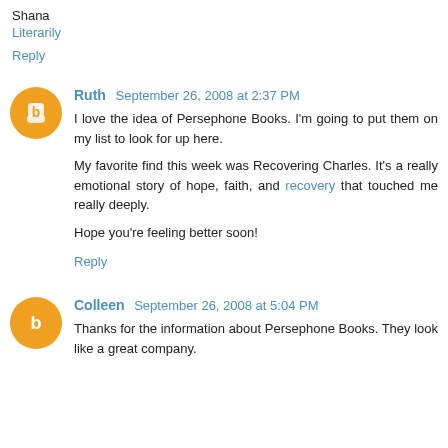Shana
Literarily
Reply
Ruth  September 26, 2008 at 2:37 PM
I love the idea of Persephone Books. I'm going to put them on my list to look for up here.

My favorite find this week was Recovering Charles. It's a really emotional story of hope, faith, and recovery that touched me really deeply.

Hope you're feeling better soon!
Reply
Colleen  September 26, 2008 at 5:04 PM
Thanks for the information about Persephone Books. They look like a great company.